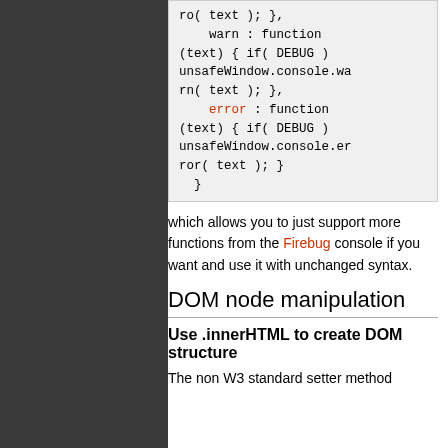[Figure (screenshot): Code block showing warn and error function definitions using unsafeWindow.console, with red-colored text for 'error' keyword]
which allows you to just support more functions from the Firebug console if you want and use it with unchanged syntax.
DOM node manipulation
Use .innerHTML to create DOM structure
The non W3 standard setter method